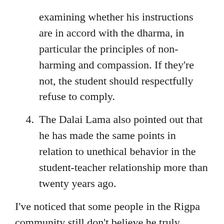examining whether his instructions are in accord with the dharma, in particular the principles of non-harming and compassion. If they're not, the student should respectfully refuse to comply.
4. The Dalai Lama also pointed out that he has made the same points in relation to unethical behavior in the student-teacher relationship more than twenty years ago.
I've noticed that some people in the Rigpa community still don't believe he truly means what he's said several times now about misconduct. They assert the Dalai Lama needs to make such statements in public to be “politically correct.” They also question whether his advice is pertinent to Vajrayana practitioners or students